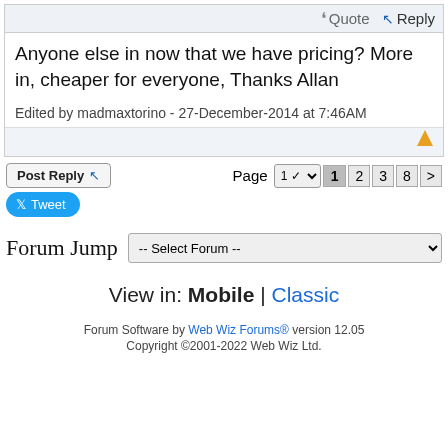Anyone else in now that we have pricing? More in, cheaper for everyone, Thanks Allan
Edited by madmaxtorino - 27-December-2014 at 7:46AM
Post Reply
Page 1 2 3 8 >
Tweet
Forum Jump -- Select Forum --
View in: Mobile | Classic
Forum Software by Web Wiz Forums® version 12.05
Copyright ©2001-2022 Web Wiz Ltd.